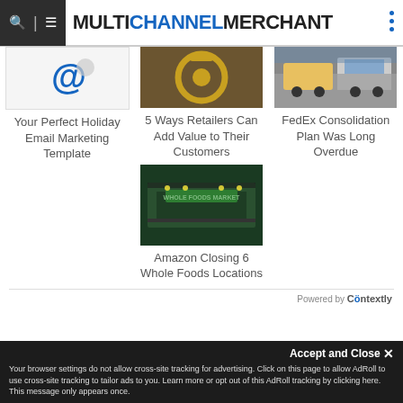MULTICHANNEL MERCHANT
[Figure (photo): Email @ symbol icon on white background]
Your Perfect Holiday Email Marketing Template
[Figure (photo): Gold ring/medal on dark background]
5 Ways Retailers Can Add Value to Their Customers
[Figure (photo): Delivery trucks on city street]
FedEx Consolidation Plan Was Long Overdue
[Figure (photo): Whole Foods Market storefront at night]
Amazon Closing 6 Whole Foods Locations
Powered by Contextly
Accept and Close ✕
Your browser settings do not allow cross-site tracking for advertising. Click on this page to allow AdRoll to use cross-site tracking to tailor ads to you. Learn more or opt out of this AdRoll tracking by clicking here. This message only appears once.